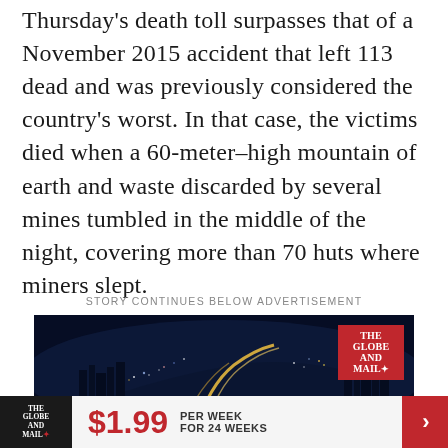Thursday's death toll surpasses that of a November 2015 accident that left 113 dead and was previously considered the country's worst. In that case, the victims died when a 60-meter–high mountain of earth and waste discarded by several mines tumbled in the middle of the night, covering more than 70 huts where miners slept.
STORY CONTINUES BELOW ADVERTISEMENT
[Figure (photo): Advertisement banner showing a nighttime aerial cityscape with glowing roads and city lights, featuring The Globe and Mail logo in a red box in the upper right corner, and text at the bottom beginning 'Catch up on Canada's most']
[Figure (infographic): Website footer subscription bar showing The Globe and Mail logo on a dark background, price $1.99 in red, 'PER WEEK FOR 24 WEEKS' text, and a red arrow button on the right]